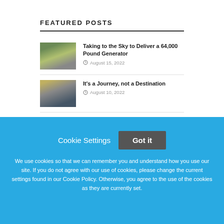FEATURED POSTS
Taking to the Sky to Deliver a 64,000 Pound Generator — August 15, 2022
It's a Journey, not a Destination — August 10, 2022
The Value of Drones
Cookie Settings   Got it

We use cookies so that we can remember you and understand how you use our site. If you do not agree with our use of cookies, please change the current settings found in our Cookie Policy. Otherwise, you agree to the use of the cookies as they are currently set.